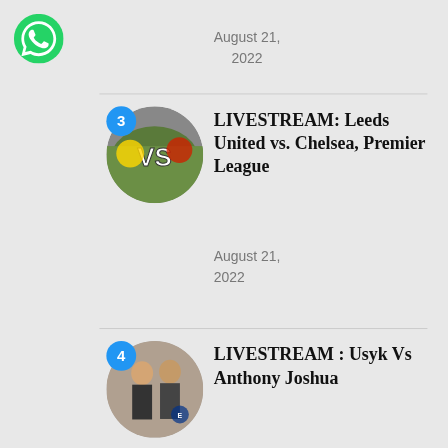[Figure (logo): WhatsApp green logo icon, top left corner]
August 21,
2022
[Figure (photo): Circular thumbnail showing a VS soccer match image with badge number 3]
LIVESTREAM: Leeds United vs. Chelsea, Premier League
August 21,
2022
[Figure (photo): Circular thumbnail showing two boxers face to face with badge number 4]
LIVESTREAM : Usyk Vs Anthony Joshua
August 20,
2022